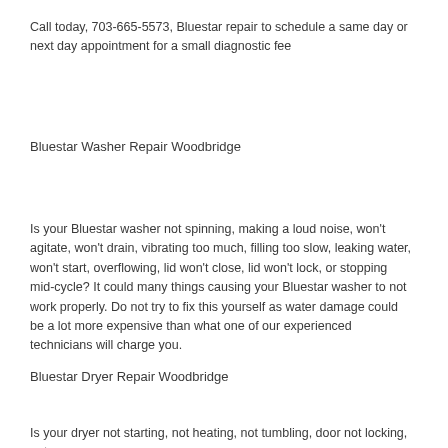Call today, 703-665-5573, Bluestar repair to schedule a same day or next day appointment for a small diagnostic fee
Bluestar Washer Repair Woodbridge
Is your Bluestar washer not spinning, making a loud noise, won't agitate, won't drain, vibrating too much, filling too slow, leaking water, won't start, overflowing, lid won't close, lid won't lock, or stopping mid-cycle? It could many things causing your Bluestar washer to not work properly. Do not try to fix this yourself as water damage could be a lot more expensive than what one of our experienced technicians will charge you.
Bluestar Dryer Repair Woodbridge
Is your dryer not starting, not heating, not tumbling, door not locking, not